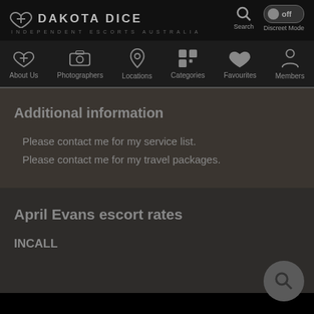[Figure (screenshot): Dakota Dice website header with logo, search icon, and discreet mode toggle]
[Figure (screenshot): Navigation bar with icons: About Us, Photographers, Locations, Categories, Favourites, Members]
Additional information
Please contact me for my service list.
Please contact me for my travel packages.
April Evans escort rates
INCALL